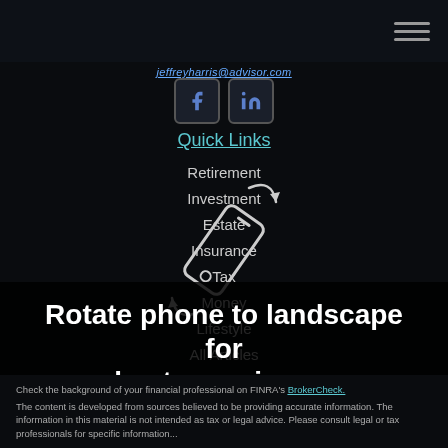[email address]
[Figure (illustration): Facebook and LinkedIn social media icons side by side]
Quick Links
Retirement
Investment
Estate
Insurance
Tax
Money
Lifestyle
All Articles
All Videos
All Calculators
[Figure (illustration): Rotating phone icon indicating to rotate the phone to landscape mode]
Rotate phone to landscape for best experience.
Check the background of your financial professional on FINRA's BrokerCheck.
The content is developed from sources believed to be providing accurate information. The information in this material is not intended as tax or legal advice. Please consult legal or tax professionals for specific information...